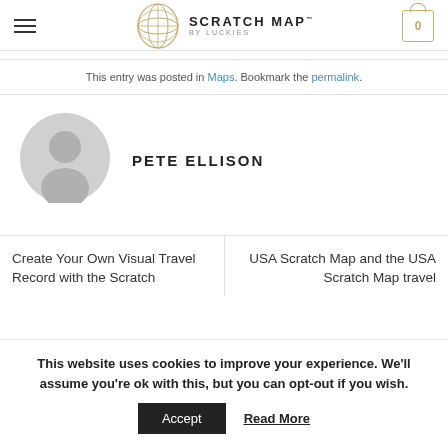SCRATCH MAP BY LUCKIES — navigation header with logo and cart
This entry was posted in Maps. Bookmark the permalink.
PETE ELLISON
Create Your Own Visual Travel Record with the Scratch
USA Scratch Map and the USA Scratch Map travel
This website uses cookies to improve your experience. We'll assume you're ok with this, but you can opt-out if you wish.